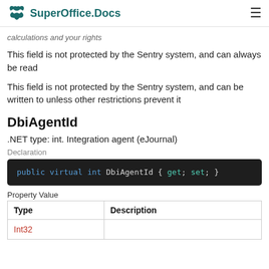SuperOffice.Docs
calculations and your rights
This field is not protected by the Sentry system, and can always be read
This field is not protected by the Sentry system, and can be written to unless other restrictions prevent it
DbiAgentId
.NET type: int. Integration agent (eJournal)
Declaration
[Figure (screenshot): Code block showing: public virtual int DbiAgentId { get; set; }]
Property Value
| Type | Description |
| --- | --- |
| Int32 |  |